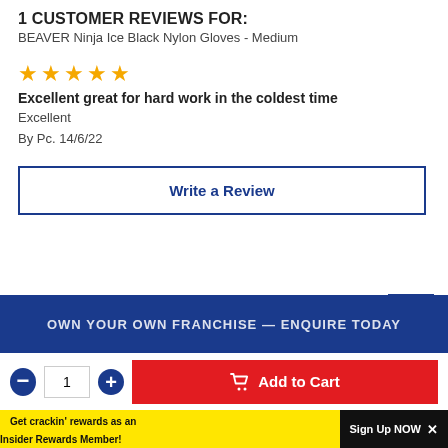1 CUSTOMER REVIEWS FOR:
BEAVER Ninja Ice Black Nylon Gloves - Medium
[Figure (other): Five gold star rating icons]
Excellent great for hard work in the coldest time
Excellent
By Pc. 14/6/22
Write a Review
OWN YOUR OWN FRANCHISE — Enquire Today
1
Add to Cart
Get crackin' rewards as an Insider Rewards Member!
Sign Up NOW ×